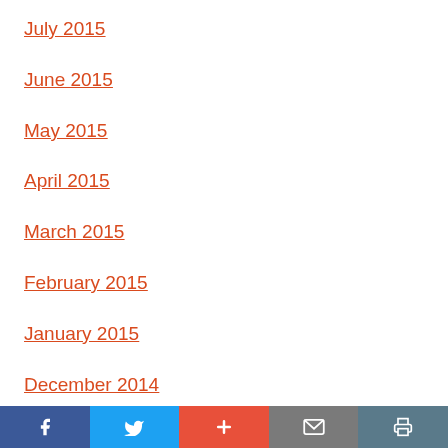July 2015
June 2015
May 2015
April 2015
March 2015
February 2015
January 2015
December 2014
November 2014
Social share bar with Facebook, Twitter, Plus, Mail, Print buttons